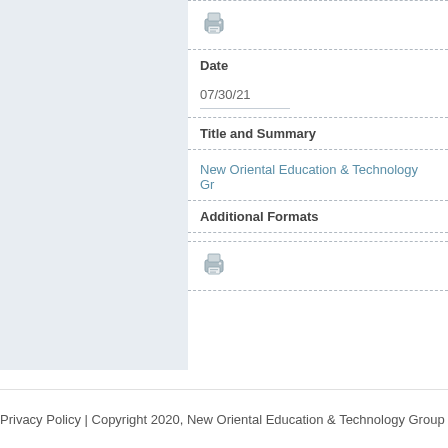[Figure (other): Printer icon in top dashed row]
Date
07/30/21
Title and Summary
New Oriental Education & Technology Gr
Additional Formats
[Figure (other): Printer icon in additional formats row]
Privacy Policy | Copyright 2020, New Oriental Education & Technology Group